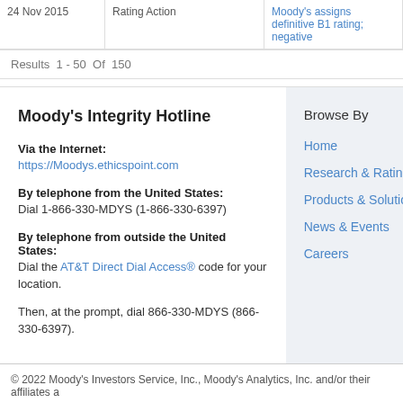| Date | Type | Description |
| --- | --- | --- |
| 24 Nov 2015 | Rating Action | Moody's assigns definitive B1 rating negative |
Results  1 - 50  Of  150
Moody's Integrity Hotline
Via the Internet:
https://Moodys.ethicspoint.com
By telephone from the United States:
Dial 1-866-330-MDYS (1-866-330-6397)
By telephone from outside the United States:
Dial the AT&T Direct Dial Access® code for your location.
Then, at the prompt, dial 866-330-MDYS (866-330-6397).
Browse By
Home
Research & Ratings
Products & Solutions
News & Events
Careers
© 2022 Moody's Investors Service, Inc., Moody's Analytics, Inc. and/or their affiliates a